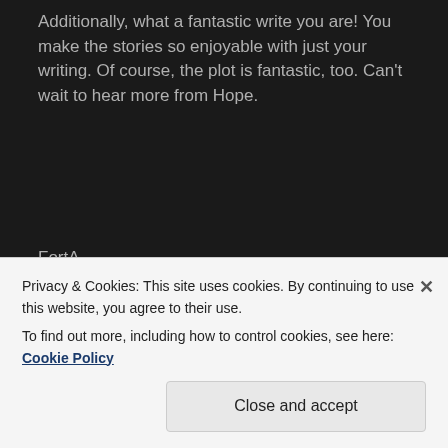Additionally, what a fantastic write you are! You make the stories so enjoyable with just your writing. Of course, the plot is fantastic, too. Can't wait to hear more from Hope.
FortA
★ Like
Log in to Reply
audiobebop
Privacy & Cookies: This site uses cookies. By continuing to use this website, you agree to their use.
To find out more, including how to control cookies, see here: Cookie Policy
Close and accept